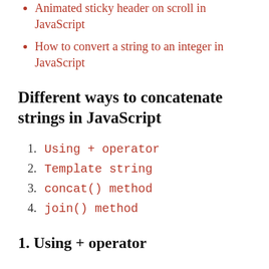Animated sticky header on scroll in JavaScript
How to convert a string to an integer in JavaScript
Different ways to concatenate strings in JavaScript
1. Using + operator
2. Template string
3. concat() method
4. join() method
1. Using + operator